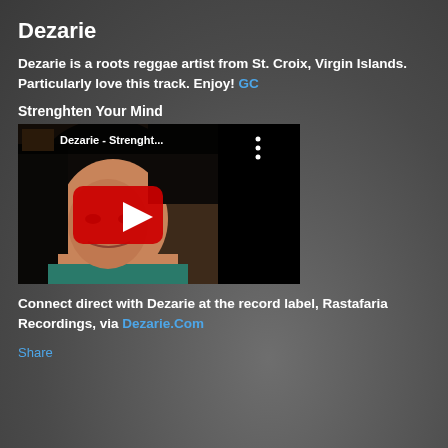Dezarie
Dezarie is a roots reggae artist from St. Croix, Virgin Islands. Particularly love this track. Enjoy! GC
Strenghten Your Mind
[Figure (screenshot): YouTube video thumbnail for 'Dezarie - Strenght...' showing a woman with long dark hair, with a red YouTube play button overlay. Right third of thumbnail is black with three vertical dots menu icon.]
Connect direct with Dezarie at the record label, Rastafaria Recordings, via Dezarie.Com
Share